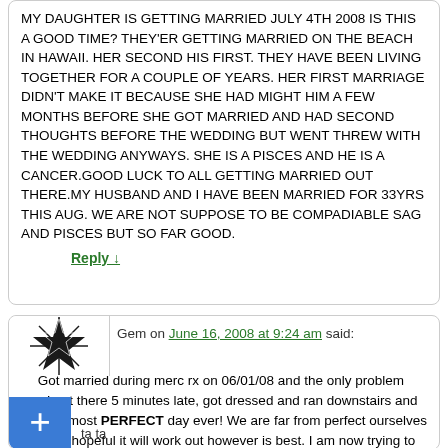MY DAUGHTER IS GETTING MARRIED JULY 4TH 2008 IS THIS A GOOD TIME? THEY'ER GETTING MARRIED ON THE BEACH IN HAWAII. HER SECOND HIS FIRST. THEY HAVE BEEN LIVING TOGETHER FOR A COUPLE OF YEARS. HER FIRST MARRIAGE DIDN'T MAKE IT BECAUSE SHE HAD MIGHT HIM A FEW MONTHS BEFORE SHE GOT MARRIED AND HAD SECOND THOUGHTS BEFORE THE WEDDING BUT WENT THREW WITH THE WEDDING ANYWAYS. SHE IS A PISCES AND HE IS A CANCER.GOOD LUCK TO ALL GETTING MARRIED OUT THERE.MY HUSBAND AND I HAVE BEEN MARRIED FOR 33YRS THIS AUG. WE ARE NOT SUPPOSE TO BE COMPADIABLE SAG AND PISCES BUT SO FAR GOOD.
Reply ↓
Gem on June 16, 2008 at 9:24 am said:
Got married during merc rx on 06/01/08 and the only problem was I got there 5 minutes late, got dressed and ran downstairs and had the most PERFECT day ever! We are far from perfect ourselves but I am hopeful it will work out however is best. I am now trying to get prego so hope the merc rx is not a detriment…but again we both have natal merc rx.
ta ta